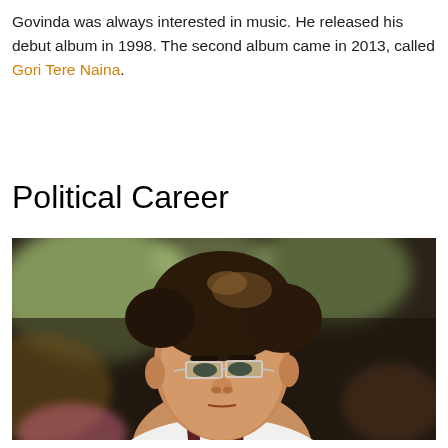Govinda was always interested in music. He released his debut album in 1998. The second album came in 2013, called Gori Tere Naina.
Political Career
[Figure (photo): A man with medium-length brown hair with highlights, wearing thin rectangular-framed glasses with a slight teal tint, dressed in a white shirt with a dark striped accent. Blurred background with yellow and green tones.]